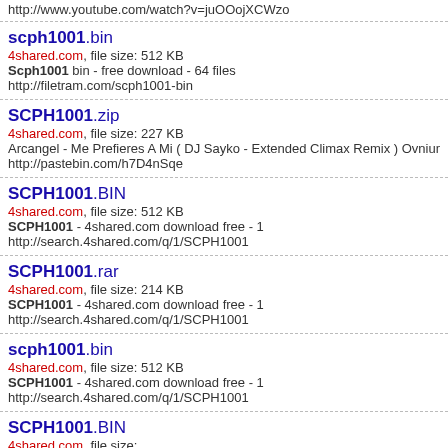http://www.youtube.com/watch?v=juOOojXCWzo
scph1001.bin | 4shared.com, file size: 512 KB | Scph1001 bin - free download - 64 files | http://filetram.com/scph1001-bin
SCPH1001.zip | 4shared.com, file size: 227 KB | Arcangel - Me Prefieres A Mi ( DJ Sayko - Extended Climax Remix ) Ovnium Reco... | http://pastebin.com/h7D4nSqe
SCPH1001.BIN | 4shared.com, file size: 512 KB | SCPH1001 - 4shared.com download free - 1 | http://search.4shared.com/q/1/SCPH1001
SCPH1001.rar | 4shared.com, file size: 214 KB | SCPH1001 - 4shared.com download free - 1 | http://search.4shared.com/q/1/SCPH1001
scph1001.bin | 4shared.com, file size: 512 KB | SCPH1001 - 4shared.com download free - 1 | http://search.4shared.com/q/1/SCPH1001
SCPH1001.BIN | 4shared.com, file size: ...